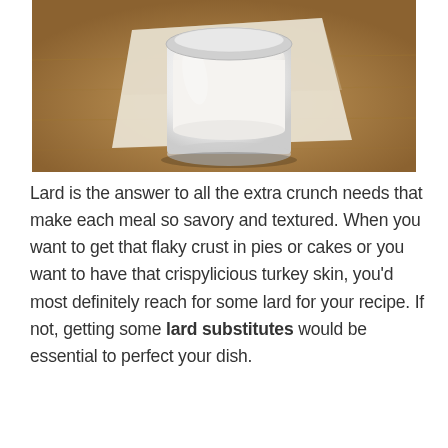[Figure (photo): A glass jar filled with white lard or cream, sitting on a piece of parchment paper on a round wooden board. The photo has a light, rustic aesthetic with warm wood tones.]
Lard is the answer to all the extra crunch needs that make each meal so savory and textured. When you want to get that flaky crust in pies or cakes or you want to have that crispylicious turkey skin, you'd most definitely reach for some lard for your recipe. If not, getting some lard substitutes would be essential to perfect your dish.